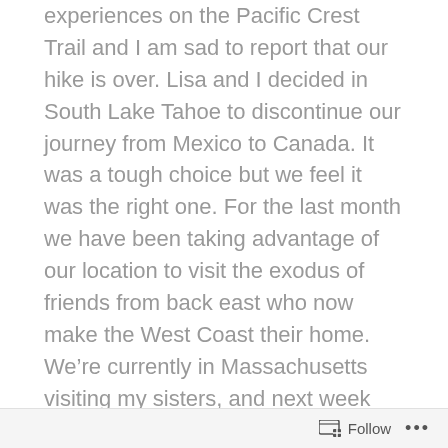experiences on the Pacific Crest Trail and I am sad to report that our hike is over. Lisa and I decided in South Lake Tahoe to discontinue our journey from Mexico to Canada. It was a tough choice but we feel it was the right one. For the last month we have been taking advantage of our location to visit the exodus of friends from back east who now make the West Coast their home. We’re currently in Massachusetts visiting my sisters, and next week we’re heading to Virginia to visit my mother and reunite with our dog, Loki. We’ve missed him terribly.
Thank you for reading my blog. I plan on adding a few more posts describing some memorable moments on the PCT. A visit to an abandoned hostel that resembled a scene from a horror film warrants its
Follow ...